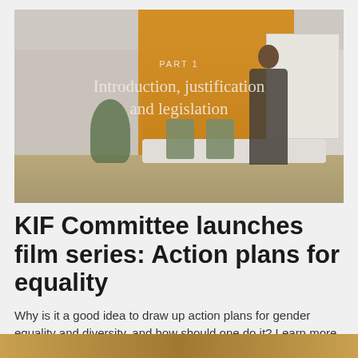[Figure (photo): Video thumbnail showing a conference room with an orange sliding panel/room divider, green chairs around a white table, a plant, a whiteboard on the right, and a person standing. Text overlay reads 'PART 1' and 'Introduction, justification and legislation'.]
KIF Committee launches film series: Action plans for equality
Why is it a good idea to draw up action plans for gender equality and diversity, and how should one do it? Learn more in these new films.
[Figure (photo): Partial strip of another photo at the bottom of the page, showing warm tones.]